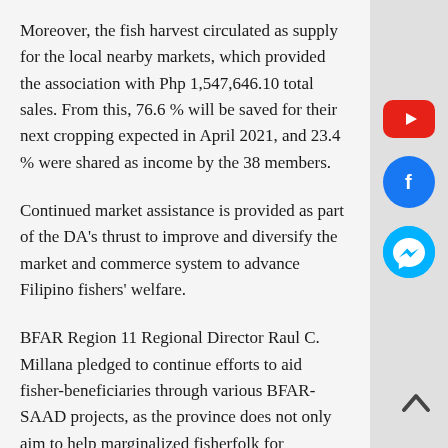Moreover, the fish harvest circulated as supply for the local nearby markets, which provided the association with Php 1,547,646.10 total sales. From this, 76.6 % will be saved for their next cropping expected in April 2021, and 23.4 % were shared as income by the 38 members.
Continued market assistance is provided as part of the DA's thrust to improve and diversify the market and commerce system to advance Filipino fishers' welfare.
BFAR Region 11 Regional Director Raul C. Millana pledged to continue efforts to aid fisher-beneficiaries through various BFAR-SAAD projects, as the province does not only aim to help marginalized fisherfolk for additional means of livelihood, but also